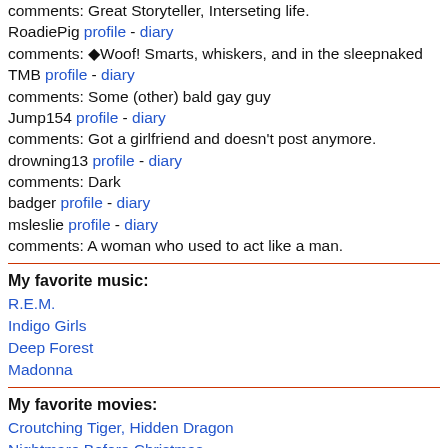comments: Great Storyteller, Interseting life.
RoadiePig profile - diary
comments: ◆Woof! Smarts, whiskers, and in the sleepnaked
TMB profile - diary
comments: Some (other) bald gay guy
Jump154 profile - diary
comments: Got a girlfriend and doesn't post anymore.
drowning13 profile - diary
comments: Dark
badger profile - diary
msleslie profile - diary
comments: A woman who used to act like a man.
My favorite music:
R.E.M.
Indigo Girls
Deep Forest
Madonna
My favorite movies:
Croutching Tiger, Hidden Dragon
Nightmare Before Christmas
Hedwig and the Angry Inch
Legally Blonde